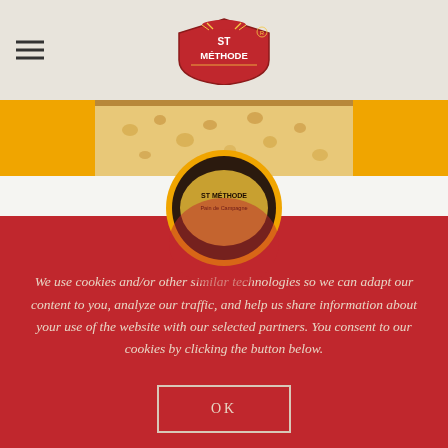[Figure (logo): St Méthode brand logo — red shield with wheat stalks and brand name]
[Figure (photo): Close-up of sliced white bread texture with golden crust, orange background band]
[Figure (photo): St Méthode bread product packaging partially visible, overlapping bread and red panel]
We use cookies and/or other similar technologies so we can adapt our content to you, analyze our traffic, and help us share information about your use of the website with our selected partners. You consent to our cookies by clicking the button below.
OK